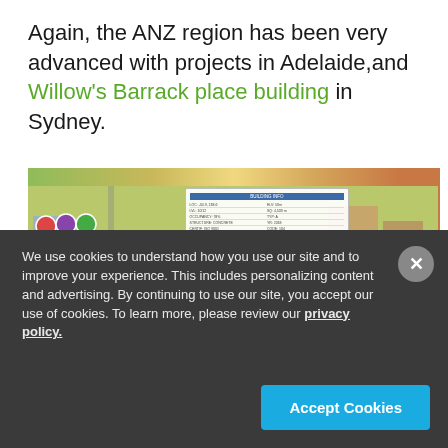Again, the ANZ region has been very advanced with projects in Adelaide,and Willow's Barrack place building in Sydney.
[Figure (screenshot): Screenshot of a 3D city/building model software interface showing an aerial view of buildings with a data panel overlay in the center]
We use cookies to understand how you use our site and to improve your experience. This includes personalizing content and advertising. By continuing to use our site, you accept our use of cookies. To learn more, please review our privacy policy.